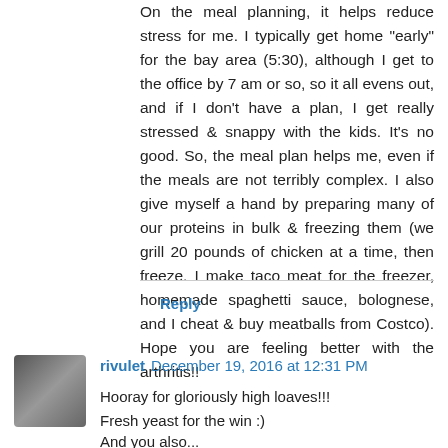On the meal planning, it helps reduce stress for me. I typically get home "early" for the bay area (5:30), although I get to the office by 7 am or so, so it all evens out, and if I don't have a plan, I get really stressed & snappy with the kids. It's no good. So, the meal plan helps me, even if the meals are not terribly complex. I also give myself a hand by preparing many of our proteins in bulk & freezing them (we grill 20 pounds of chicken at a time, then freeze. I make taco meat for the freezer, homemade spaghetti sauce, bolognese, and I cheat & buy meatballs from Costco). Hope you are feeling better with the arthritis!!
Reply
rivulet December 19, 2016 at 12:31 PM
Hooray for gloriously high loaves!!!
Fresh yeast for the win :)
And you also...